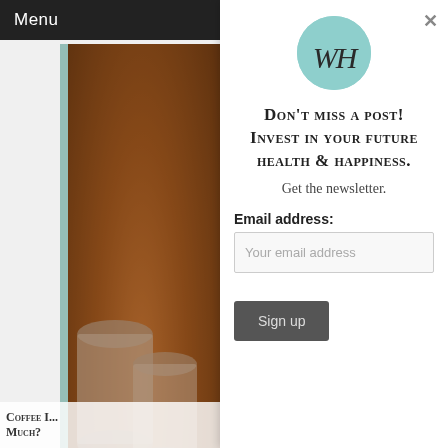Menu
[Figure (photo): Background photo showing coffee cans/drums in warm brown tones]
Coffee I... Much?
[Figure (logo): Round teal/mint circle logo with stylized WH monogram in italic script]
Don't miss a post! Invest in your future health & happiness.
Get the newsletter.
Email address:
Your email address
Sign up